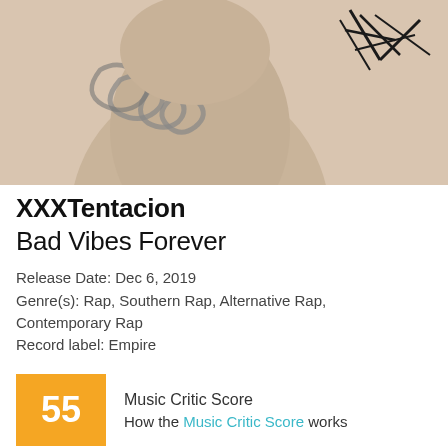[Figure (photo): Album cover art for XXXTentacion Bad Vibes Forever — close-up of a person with a chain necklace, beige/tan tones, with a black thorn-like graphic in the upper right corner.]
XXXTentacion
Bad Vibes Forever
Release Date: Dec 6, 2019
Genre(s): Rap, Southern Rap, Alternative Rap, Contemporary Rap
Record label: Empire
55 — Music Critic Score — How the Music Critic Score works